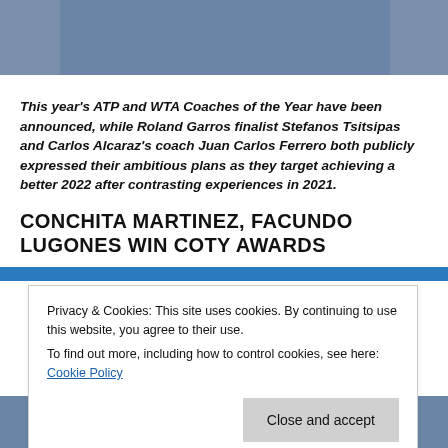[Figure (photo): Cropped photo of people in blue shirts, likely holding trophies, visible at top of page]
This year's ATP and WTA Coaches of the Year have been announced, while Roland Garros finalist Stefanos Tsitsipas and Carlos Alcaraz's coach Juan Carlos Ferrero both publicly expressed their ambitious plans as they target achieving a better 2022 after contrasting experiences in 2021.
CONCHITA MARTINEZ, FACUNDO LUGONES WIN COTY AWARDS
Privacy & Cookies: This site uses cookies. By continuing to use this website, you agree to their use.
To find out more, including how to control cookies, see here: Cookie Policy
[Figure (photo): Partial photo visible at bottom of page below the cookie banner]